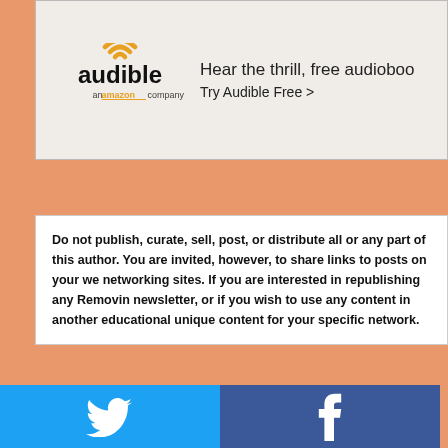[Figure (logo): Audible logo — 'audible' text with headphone icon above, 'an amazon company' below in orange/black. Beside it: 'Hear the thrill, free audioboo...' and 'Try Audible Free >']
Do not publish, curate, sell, post, or distribute all or any part of this author. You are invited, however, to share links to posts on your we networking sites. If you are interested in republishing any Removing newsletter, or if you wish to use any content in another educational unique content for your specific network.
[Figure (infographic): Social sharing buttons grid: Twitter (blue), Facebook (dark blue), Email (grey), WhatsApp (green), SMS (blue), Share/refresh (green). Icons shown in white.]